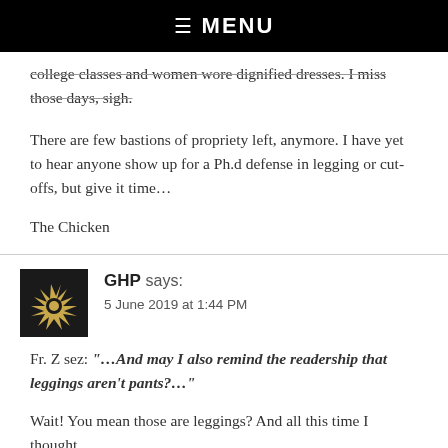☰ MENU
college classes and women wore dignified dresses. I miss those days, sigh.
There are few bastions of propriety left, anymore. I have yet to hear anyone show up for a Ph.d defense in legging or cut-offs, but give it time…
The Chicken
GHP says:
5 June 2019 at 1:44 PM
Fr. Z sez: "…And may I also remind the readership that leggings aren't pants?…"
Wait! You mean those are leggings? And all this time I thought